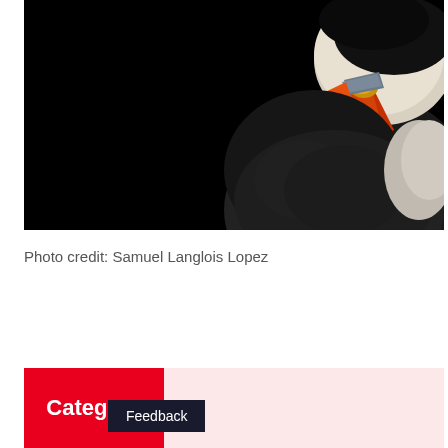[Figure (photo): Close-up photograph of a puffin bird against a black background, showing its distinctive colorful beak (orange, red, yellow) and dark feathered body/head, photographed by Samuel Langlois Lopez.]
Photo credit: Samuel Langlois Lopez
Category
Feedback